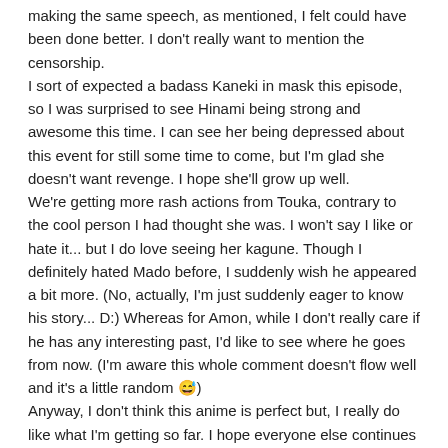making the same speech, as mentioned, I felt could have been done better. I don't really want to mention the censorship.
I sort of expected a badass Kaneki in mask this episode, so I was surprised to see Hinami being strong and awesome this time. I can see her being depressed about this event for still some time to come, but I'm glad she doesn't want revenge. I hope she'll grow up well.
We're getting more rash actions from Touka, contrary to the cool person I had thought she was. I won't say I like or hate it... but I do love seeing her kagune. Though I definitely hated Mado before, I suddenly wish he appeared a bit more. (No, actually, I'm just suddenly eager to know his story... D:) Whereas for Amon, while I don't really care if he has any interesting past, I'd like to see where he goes from now. (I'm aware this whole comment doesn't flow well and it's a little random 😅)
Anyway, I don't think this anime is perfect but, I really do like what I'm getting so far. I hope everyone else continues to enjoy it too, because the nice discussions just make it all better for me. Cheers and have a nice day.